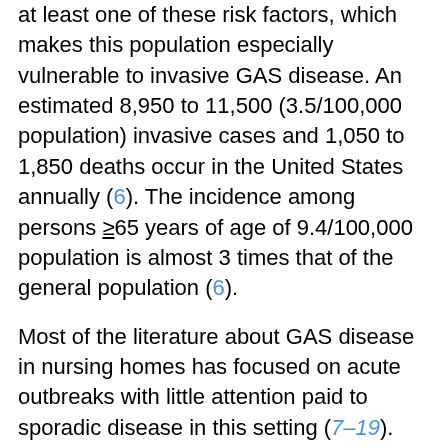at least one of these risk factors, which makes this population especially vulnerable to invasive GAS disease. An estimated 8,950 to 11,500 (3.5/100,000 population) invasive cases and 1,050 to 1,850 deaths occur in the United States annually (6). The incidence among persons ≥65 years of age of 9.4/100,000 population is almost 3 times that of the general population (6).
Most of the literature about GAS disease in nursing homes has focused on acute outbreaks with little attention paid to sporadic disease in this setting (7–19). Factors contributing to these outbreaks include GAS-infected caregivers, inadequate infection control measures, resident-to-resident spread, and the presence of a chronically infected or persistently colonized resident (7–17). On the basis of our experience with GAS surveillance in Minnesota, we suspect that a lack of recognition of GAS disease